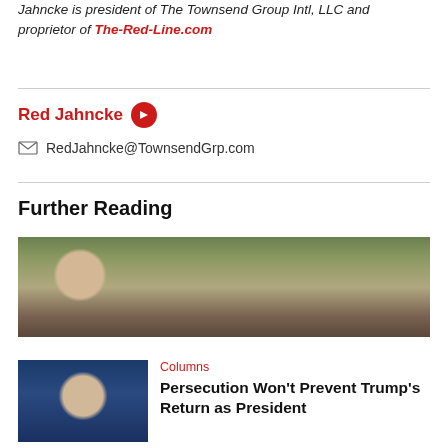Jahncke is president of The Townsend Group Intl, LLC and proprietor of The-Red-Line.com
Red Jahncke
RedJahncke@TownsendGrp.com
Further Reading
[Figure (photo): Headshot of a man wearing glasses and a cap, outdoors near a covered structure]
Columns
Talking Transportation: Why Not the Train?
— Jim Cameron, 8.21.2022
[Figure (photo): Headshot of a man against a blue background]
Columns
Persecution Won't Prevent Trump's Return as President